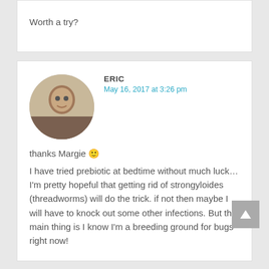Worth a try?
ERIC
May 16, 2017 at 3:26 pm
thanks Margie 🙂
I have tried prebiotic at bedtime without much luck… I'm pretty hopeful that getting rid of strongyloides (threadworms) will do the trick. if not then maybe I will have to knock out some other infections. But the main thing is I know I'm a breeding ground for bugs right now!
IB